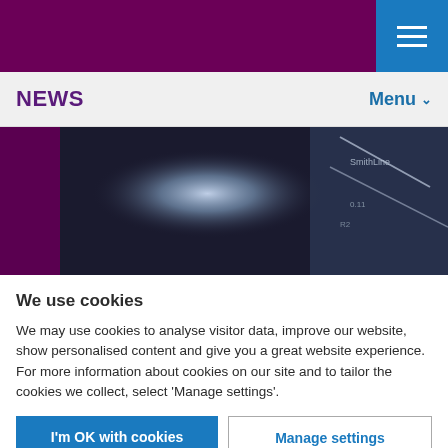NEWS   Menu
[Figure (photo): Dark close-up photo of a laboratory or industrial setting with a bright light source and a glass or plastic component with markings, against a purple background on the left edge.]
We use cookies
We may use cookies to analyse visitor data, improve our website, show personalised content and give you a great website experience. For more information about cookies on our site and to tailor the cookies we collect, select 'Manage settings'.
I'm OK with cookies   Manage settings